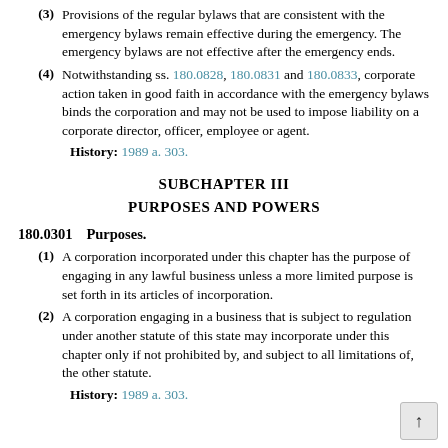(3) Provisions of the regular bylaws that are consistent with the emergency bylaws remain effective during the emergency. The emergency bylaws are not effective after the emergency ends.
(4) Notwithstanding ss. 180.0828, 180.0831 and 180.0833, corporate action taken in good faith in accordance with the emergency bylaws binds the corporation and may not be used to impose liability on a corporate director, officer, employee or agent.
History: 1989 a. 303.
SUBCHAPTER III
PURPOSES AND POWERS
180.0301    Purposes.
(1) A corporation incorporated under this chapter has the purpose of engaging in any lawful business unless a more limited purpose is set forth in its articles of incorporation.
(2) A corporation engaging in a business that is subject to regulation under another statute of this state may incorporate under this chapter only if not prohibited by, and subject to all limitations of, the other statute.
History: 1989 a. 303.